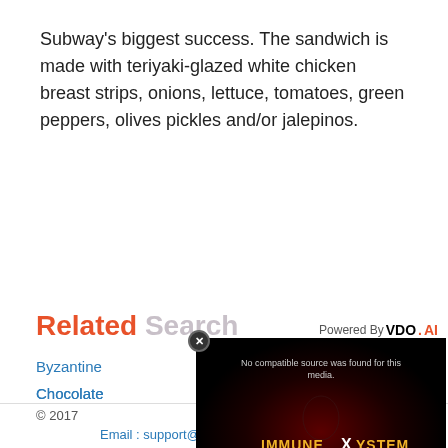Subway's biggest success. The sandwich is made with teriyaki-glazed white chicken breast strips, onions, lettuce, tomatoes, green peppers, olives pickles and/or jalepinos.
Related Search
Byzantine
Chocolate
Creamy Be...
Mom's Eas...
Pork Chop...
Tomato Co...
Tuscan Fa...
[Figure (screenshot): Video player overlay showing 'No compatible source was found for this media.' with 'IMMUNE X SYSTEM HOW IT ACTUALLY WORKS' text on dark background, powered by VDO.AI]
© 2017   Email : support@tffrecipes.com